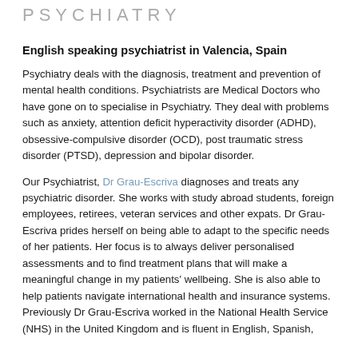PSYCHIATRY
English speaking psychiatrist in Valencia, Spain
Psychiatry deals with the diagnosis, treatment and prevention of mental health conditions. Psychiatrists are Medical Doctors who have gone on to specialise in Psychiatry. They deal with problems such as anxiety, attention deficit hyperactivity disorder (ADHD), obsessive-compulsive disorder (OCD), post traumatic stress disorder (PTSD), depression and bipolar disorder.
Our Psychiatrist, Dr Grau-Escriva diagnoses and treats any psychiatric disorder. She works with study abroad students, foreign employees, retirees, veteran services and other expats. Dr Grau-Escriva prides herself on being able to adapt to the specific needs of her patients. Her focus is to always deliver personalised assessments and to find treatment plans that will make a meaningful change in my patients' wellbeing. She is also able to help patients navigate international health and insurance systems. Previously Dr Grau-Escriva worked in the National Health Service (NHS) in the United Kingdom and is fluent in English, Spanish,